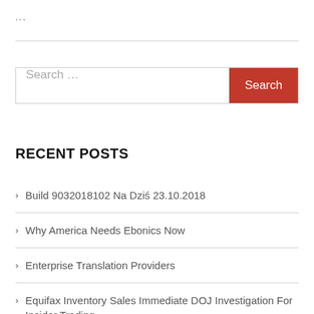...
[Figure (other): Horizontal divider line]
[Figure (other): Search input box with red Search button]
RECENT POSTS
Build 9032018102 Na Dziś 23.10.2018
Why America Needs Ebonics Now
Enterprise Translation Providers
Equifax Inventory Sales Immediate DOJ Investigation For Insider Trading